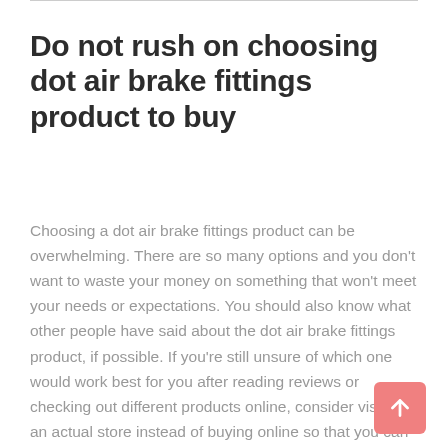Do not rush on choosing dot air brake fittings product to buy
Choosing a dot air brake fittings product can be overwhelming. There are so many options and you don’t want to waste your money on something that won’t meet your needs or expectations. You should also know what other people have said about the dot air brake fittings product, if possible. If you’re still unsure of which one would work best for you after reading reviews or checking out different products online, consider visiting an actual store instead of buying online so that you can get hands-on experience with each item before making a decision.